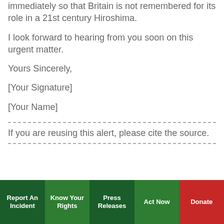to some minister. Please do so immediately so that Britain is not remembered for its role in a 21st century Hiroshima.
I look forward to hearing from you soon on this urgent matter.
Yours Sincerely,
[Your Signature]
[Your Name]
If you are reusing this alert, please cite the source.
Report An Incident | Know Your Rights | Press Releases | Act Now | Donate